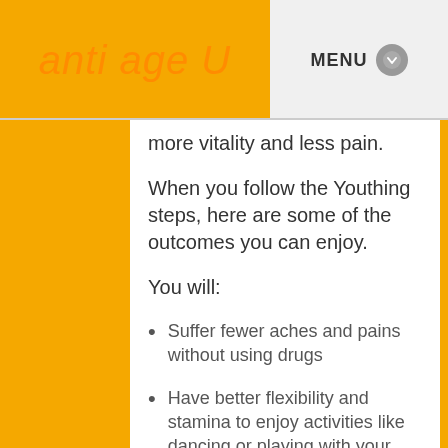anti age U  MENU
more vitality and less pain.
When you follow the Youthing steps, here are some of the outcomes you can enjoy.
You will:
Suffer fewer aches and pains without using drugs
Have better flexibility and stamina to enjoy activities like dancing or playing with your kids and grandkids